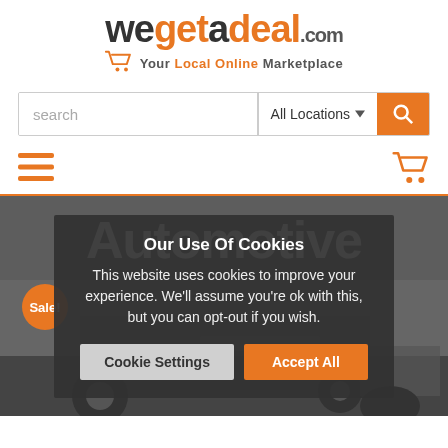[Figure (logo): wegetadeal.com logo with shopping cart icon and tagline 'Your Local Online Marketplace']
[Figure (screenshot): Search bar with 'search' placeholder, 'All Locations' dropdown, and orange search button]
[Figure (screenshot): Navigation bar with hamburger menu icon on left and shopping cart icon on right, separated by orange horizontal line]
[Figure (photo): Automotive category hero image with dark overlay showing 'Automotive' text in large white bold font, a Sale! orange badge, and a cookie consent dialog overlay]
Our Use Of Cookies
This website uses cookies to improve your experience. We'll assume you're ok with this, but you can opt-out if you wish.